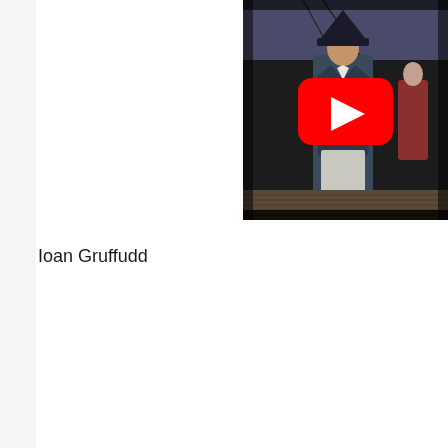[Figure (screenshot): YouTube video thumbnail showing a man in historical naval officer costume with tricorn hat standing on a ship deck, with the YouTube play button overlay in the center.]
Ioan Gruffudd